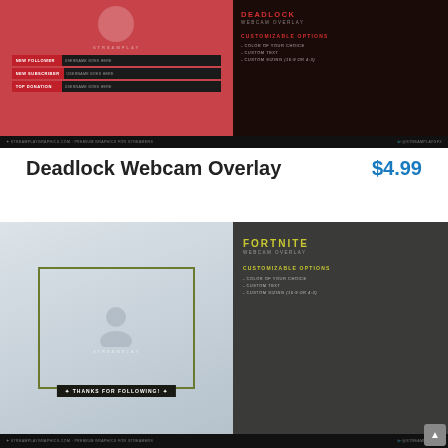[Figure (screenshot): Deadlock Webcam Overlay product image showing a red/dark themed overlay with follower, subscriber and donation bars on the left side, and customizable options text on the right dark panel]
Deadlock Webcam Overlay
$4.99
[Figure (screenshot): Fortnite Webcam Overlay product image showing a grey/light themed overlay with a webcam frame with thanks for following banner, and Fortnite styled customizable options on the right dark panel]